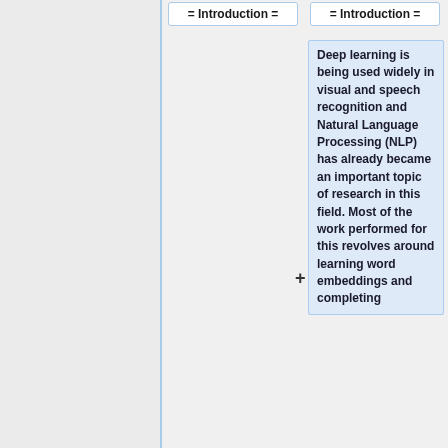= Introduction =
= Introduction =
Deep learning is being used widely in visual and speech recognition and Natural Language Processing (NLP) has already became an important topic of research in this field. Most of the work performed for this revolves around learning word embeddings and completing